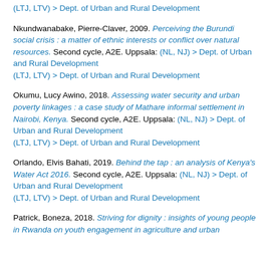(LTJ, LTV) > Dept. of Urban and Rural Development
Nkundwanabake, Pierre-Claver, 2009. Perceiving the Burundi social crisis : a matter of ethnic interests or conflict over natural resources. Second cycle, A2E. Uppsala: (NL, NJ) > Dept. of Urban and Rural Development (LTJ, LTV) > Dept. of Urban and Rural Development
Okumu, Lucy Awino, 2018. Assessing water security and urban poverty linkages : a case study of Mathare informal settlement in Nairobi, Kenya. Second cycle, A2E. Uppsala: (NL, NJ) > Dept. of Urban and Rural Development (LTJ, LTV) > Dept. of Urban and Rural Development
Orlando, Elvis Bahati, 2019. Behind the tap : an analysis of Kenya's Water Act 2016. Second cycle, A2E. Uppsala: (NL, NJ) > Dept. of Urban and Rural Development (LTJ, LTV) > Dept. of Urban and Rural Development
Patrick, Boneza, 2018. Striving for dignity : insights of young people in Rwanda on youth engagement in agriculture and urban orientation of rural youth. Second cycle, A2E.